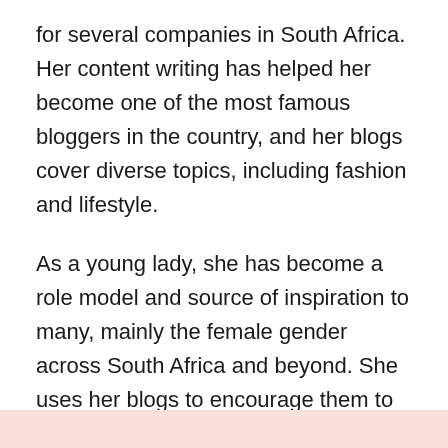for several companies in South Africa. Her content writing has helped her become one of the most famous bloggers in the country, and her blogs cover diverse topics, including fashion and lifestyle.
As a young lady, she has become a role model and source of inspiration to many, mainly the female gender across South Africa and beyond. She uses her blogs to encourage them to aim high in life and pursue education. This social media personality has diverse charities that aim to support the education of children who are willing to learn but cannot go to school because they come from low-income families.
[Figure (other): Pink/salmon colored bar or banner at the bottom of the page]